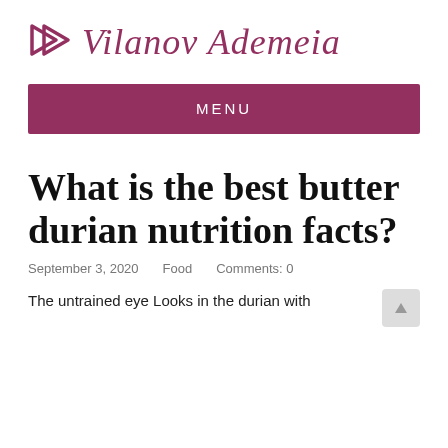Vilanov Ademeia
MENU
What is the best butter durian nutrition facts?
September 3, 2020    Food    Comments: 0
The untrained eye Looks in the durian with